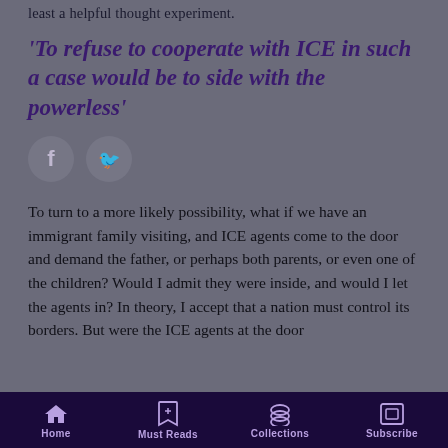least a helpful thought experiment.
‘To refuse to cooperate with ICE in such a case would be to side with the powerless’
[Figure (other): Social media sharing icons: Facebook and Twitter circular buttons]
To turn to a more likely possibility, what if we have an immigrant family visiting, and ICE agents come to the door and demand the father, or perhaps both parents, or even one of the children? Would I admit they were inside, and would I let the agents in? In theory, I accept that a nation must control its borders. But were the ICE agents at the door
Home  Must Reads  Collections  Subscribe